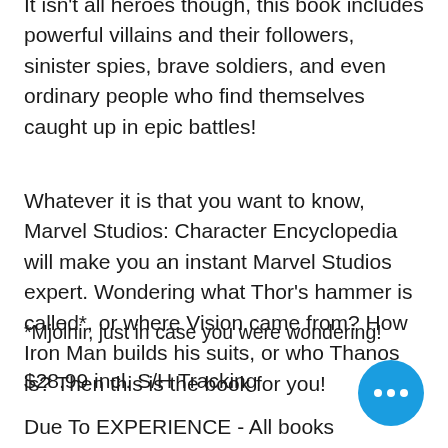It isn't all heroes though, this book includes powerful villains and their followers, sinister spies, brave soldiers, and even ordinary people who find themselves caught up in epic battles!
Whatever it is that you want to know, Marvel Studios: Character Encyclopedia will make you an instant Marvel Studios expert. Wondering what Thor's hammer is called*, or where Vision came from? How Iron Man builds his suits, or who Thanos is? Then this is the book for you!
*Mjolnir, just in case you were wondering!
$28.99 incl. S/H Tracking
Due To EXPERIENCE - All books